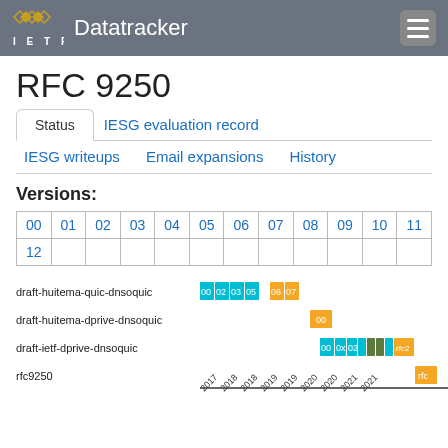IETF Datatracker
RFC 9250
Status | IESG evaluation record | IESG writeups | Email expansions | History
Versions:
| 00 | 01 | 02 | 03 | 04 | 05 | 06 | 07 | 08 | 09 | 10 | 11 |
| --- | --- | --- | --- | --- | --- | --- | --- | --- | --- | --- | --- |
| 12 |  |  |  |  |  |  |  |  |  |  |  |
[Figure (other): Gantt-style timeline chart showing document versions across time for: draft-huitema-quic-dnsoquic (versions 00,02,03,05 in cyan, 06,07 in gold), draft-huitema-dprive-dnsoquic (version 00 in gold), draft-ietf-dprive-dnsoquic (versions 00,00,02,0x in cyan and gold), rfc9250 (rfc in gold). X-axis shows years 2017-2021.]